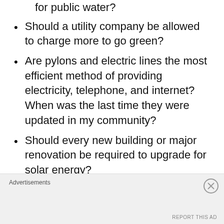Is it a monopoly to only have one option for public water?
Should a utility company be allowed to charge more to go green?
Are pylons and electric lines the most efficient method of providing electricity, telephone, and internet? When was the last time they were updated in my community?
Should every new building or major renovation be required to upgrade for solar energy?
How does the local electric company
Advertisements